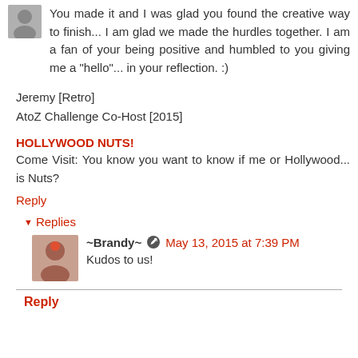You made it and I was glad you found the creative way to finish... I am glad we made the hurdles together. I am a fan of your being positive and humbled to you giving me a "hello"... in your reflection. :)
Jeremy [Retro]
AtoZ Challenge Co-Host [2015]
HOLLYWOOD NUTS!
Come Visit: You know you want to know if me or Hollywood... is Nuts?
Reply
Replies
~Brandy~  May 13, 2015 at 7:39 PM
Kudos to us!
Reply